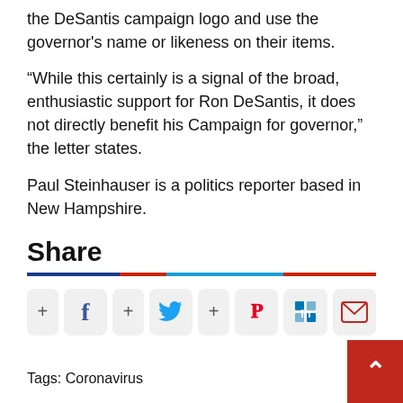the DeSantis campaign logo and use the governor's name or likeness on their items.
“While this certainly is a signal of the broad, enthusiastic support for Ron DeSantis, it does not directly benefit his Campaign for governor,” the letter states.
Paul Steinhauser is a politics reporter based in New Hampshire.
Share
[Figure (infographic): Share buttons row: Facebook, Twitter, Pinterest, LinkedIn, Email with plus icons]
Tags: Coronavirus